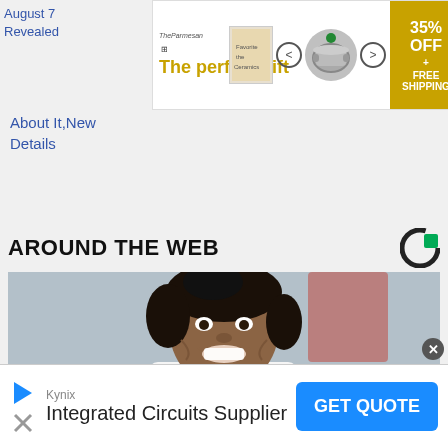August 7
Revealed
[Figure (infographic): Advertisement banner: 'The perfect gift' with cooking pot image, navigation arrows, and '35% OFF + FREE SHIPPING' offer badge]
About It,New
Details
AROUND THE WEB
[Figure (photo): A smiling female doctor in a white coat with a stethoscope around her neck, blurred hospital background]
[Figure (infographic): Bottom advertisement: Kynix - Integrated Circuits Supplier with GET QUOTE button]